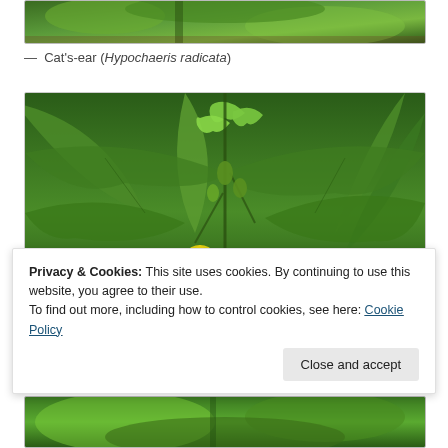[Figure (photo): Top portion of a plant photo, showing green leaves (Cat's-ear / Hypochaeris radicata), cropped at top of page]
— Cat's-ear (Hypochaeris radicata)
[Figure (photo): Photo of a plant with large serrated green leaves and yellow bell-shaped flowers (Lysimachia or similar species), with a border/frame around it]
Privacy & Cookies: This site uses cookies. By continuing to use this website, you agree to their use.
To find out more, including how to control cookies, see here: Cookie Policy
[Figure (photo): Bottom strip of another plant photo, partially visible at bottom of page]